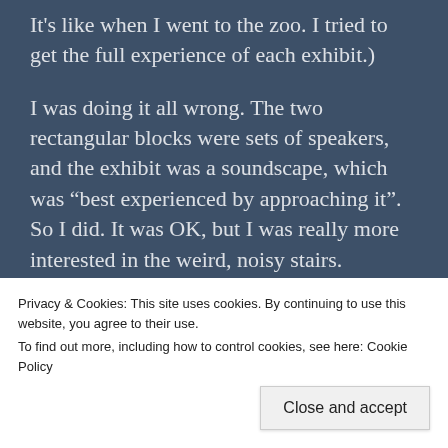It's like when I went to the zoo. I tried to get the full experience of each exhibit.)
I was doing it all wrong. The two rectangular blocks were sets of speakers, and the exhibit was a soundscape, which was “best experienced by approaching it”. So I did. It was OK, but I was really more interested in the weird, noisy stairs.
I climbed back up to the first floor, and learned that the sounds were another (this time three dimensional soundscape, and that the sounds changed as you moved through it (by climbing the
Privacy & Cookies: This site uses cookies. By continuing to use this website, you agree to their use.
To find out more, including how to control cookies, see here: Cookie Policy
Close and accept